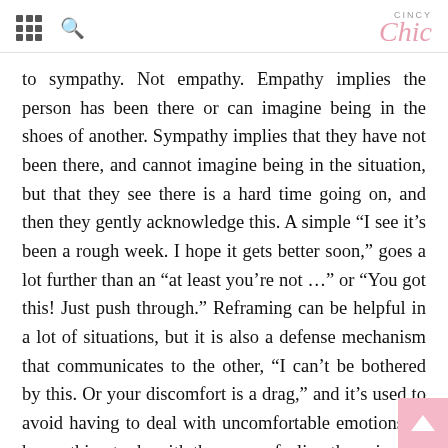CINCY Chic
to sympathy. Not empathy. Empathy implies the person has been there or can imagine being in the shoes of another. Sympathy implies that they have not been there, and cannot imagine being in the situation, but that they see there is a hard time going on, and then they gently acknowledge this. A simple “I see it’s been a rough week. I hope it gets better soon,” goes a lot further than an “at least you’re not …” or “You got this! Just push through.” Reframing can be helpful in a lot of situations, but it is also a defense mechanism that communicates to the other, “I can’t be bothered by this. Or your discomfort is a drag,” and it’s used to avoid having to deal with uncomfortable emotions. It has nothing to do with the person feeling the pain, and everything to do with the person prescribing the reframe. Reframing can actually perpetuate the pain of the other by making them feel less than or not entitled to their own emotion. It’s a good thing to watch out for because it is easy to do.